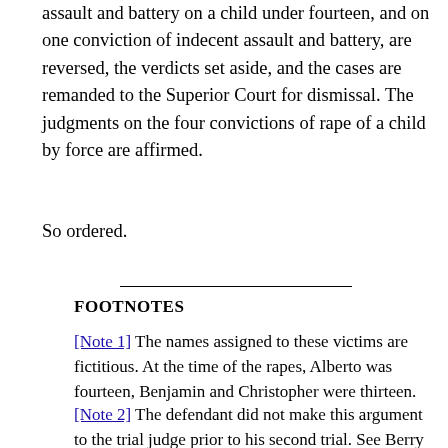assault and battery on a child under fourteen, and on one conviction of indecent assault and battery, are reversed, the verdicts set aside, and the cases are remanded to the Superior Court for dismissal. The judgments on the four convictions of rape of a child by force are affirmed.
So ordered.
FOOTNOTES
[Note 1] The names assigned to these victims are fictitious. At the time of the rapes, Alberto was fourteen, Benjamin and Christopher were thirteen.
[Note 2] The defendant did not make this argument to the trial judge prior to his second trial. See Berry v. Commonwealth, 393 Mass. 793 , 794 (1985). Courts are divided on whether the failure to raise the issue